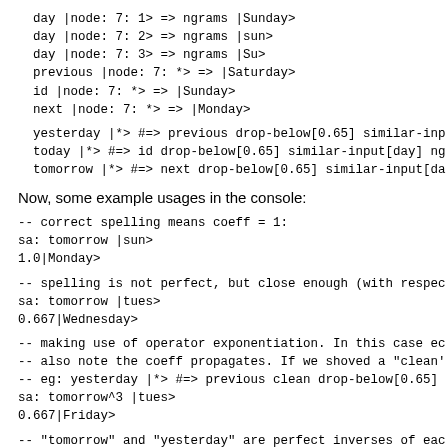day |node: 7: 1> => ngrams |Sunday>
day |node: 7: 2> => ngrams |sun>
day |node: 7: 3> => ngrams |Su>
previous |node: 7: *> => |Saturday>
id |node: 7: *> => |Sunday>
next |node: 7: *> => |Monday>
yesterday |*> #=> previous drop-below[0.65] similar-inp
today |*> #=> id drop-below[0.65] similar-input[day] ng
tomorrow |*> #=> next drop-below[0.65] similar-input[da
Now, some example usages in the console:
-- correct spelling means coeff = 1:
sa: tomorrow |sun>
1.0|Monday>
-- spelling is not perfect, but close enough (with respec
sa: tomorrow |tues>
0.667|Wednesday>
-- making use of operator exponentiation. In this case ec
-- also note the coeff propagates. If we shoved a "clean'
-- eg: yesterday |*> #=> previous clean drop-below[0.65]
sa: tomorrow^3 |tues>
0.667|Friday>
-- "tomorrow" and "yesterday" are perfect inverses of eac
sa: tomorrow yesterday |fri>
1.0|Friday>